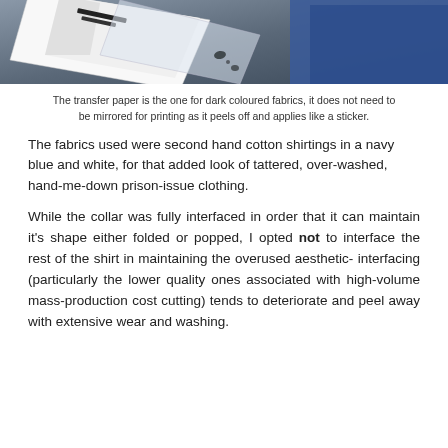[Figure (photo): Photo showing transfer paper being peeled off, with a white sheet and blue fabric visible on a grey background.]
The transfer paper is the one for dark coloured fabrics, it does not need to be mirrored for printing as it peels off and applies like a sticker.
The fabrics used were second hand cotton shirtings in a navy blue and white, for that added look of tattered, over-washed, hand-me-down prison-issue clothing.
While the collar was fully interfaced in order that it can maintain it's shape either folded or popped, I opted not to interface the rest of the shirt in maintaining the overused aesthetic- interfacing (particularly the lower quality ones associated with high-volume mass-production cost cutting) tends to deteriorate and peel away with extensive wear and washing.